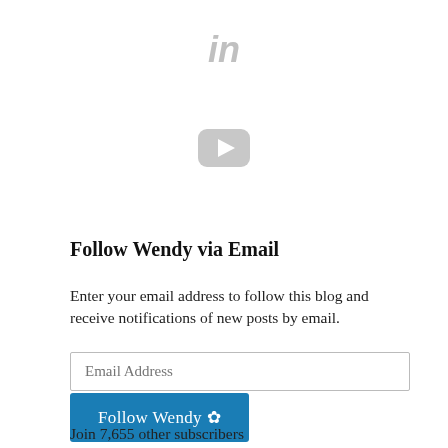[Figure (logo): LinkedIn 'in' icon in gray]
[Figure (logo): YouTube play button icon in gray]
Follow Wendy via Email
Enter your email address to follow this blog and receive notifications of new posts by email.
Email Address
Follow Wendy ✿
Join 7,655 other subscribers